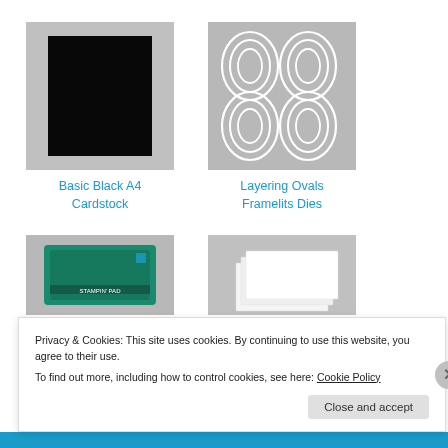[Figure (photo): Product photo of Basic Black A4 Cardstock – black sheet on grey background]
Basic Black A4 Cardstock
[Figure (photo): Product photo of Layering Ovals Framelits Dies – four nested oval die shapes on grey background]
Layering Ovals Framelits Dies
[Figure (photo): Product photo of a green Stampin' Pad ink pad on grey background]
[Figure (photo): Product photo of white paper/cardstock sheets on grey background]
Privacy & Cookies: This site uses cookies. By continuing to use this website, you agree to their use.
To find out more, including how to control cookies, see here: Cookie Policy
Close and accept